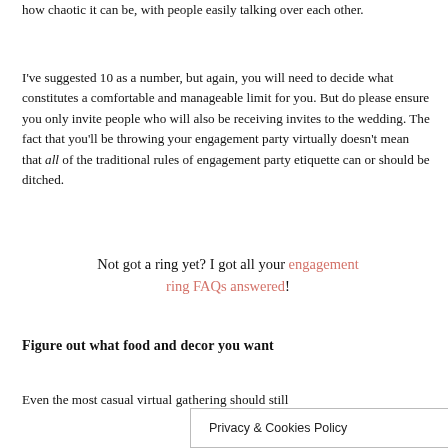how chaotic it can be, with people easily talking over each other.
I've suggested 10 as a number, but again, you will need to decide what constitutes a comfortable and manageable limit for you. But do please ensure you only invite people who will also be receiving invites to the wedding. The fact that you'll be throwing your engagement party virtually doesn't mean that all of the traditional rules of engagement party etiquette can or should be ditched.
Not got a ring yet? I got all your engagement ring FAQs answered!
Figure out what food and decor you want
Even the most casual v… should still feed the guests fine…
Privacy & Cookies Policy